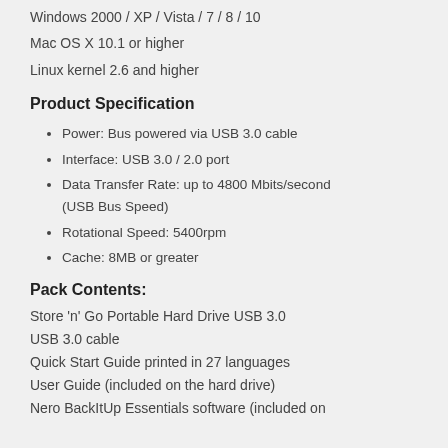Windows 2000 / XP / Vista / 7 / 8 / 10
Mac OS X 10.1 or higher
Linux kernel 2.6 and higher
Product Specification
Power: Bus powered via USB 3.0 cable
Interface: USB 3.0 / 2.0 port
Data Transfer Rate: up to 4800 Mbits/second (USB Bus Speed)
Rotational Speed: 5400rpm
Cache: 8MB or greater
Pack Contents:
Store 'n' Go Portable Hard Drive USB 3.0
USB 3.0 cable
Quick Start Guide printed in 27 languages
User Guide (included on the hard drive)
Nero BackItUp Essentials software (included on